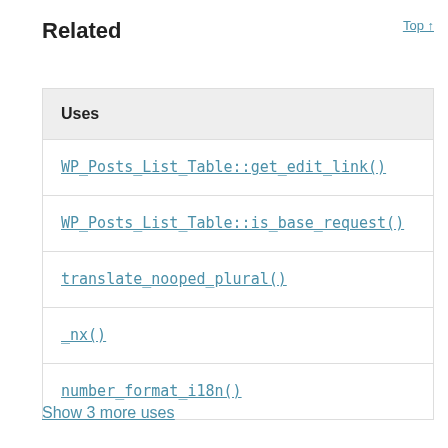Related
Top ↑
| Uses |
| --- |
| WP_Posts_List_Table::get_edit_link() |
| WP_Posts_List_Table::is_base_request() |
| translate_nooped_plural() |
| _nx() |
| number_format_i18n() |
Show 3 more uses